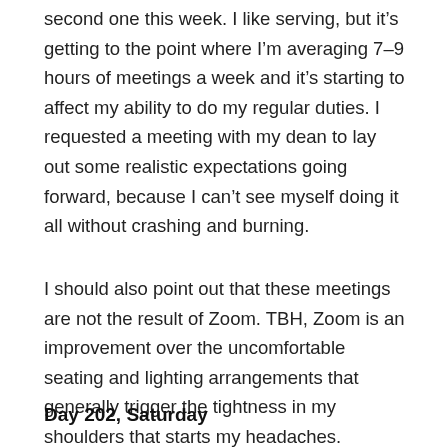second one this week. I like serving, but it's getting to the point where I'm averaging 7–9 hours of meetings a week and it's starting to affect my ability to do my regular duties. I requested a meeting with my dean to lay out some realistic expectations going forward, because I can't see myself doing it all without crashing and burning.
I should also point out that these meetings are not the result of Zoom. TBH, Zoom is an improvement over the uncomfortable seating and lighting arrangements that generally trigger the tightness in my shoulders that starts my headaches.
Day 202, Saturday